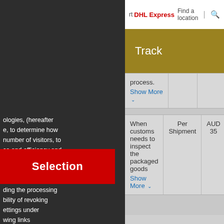DHL Express | Find a location | Search | English
Track
process.
Show More
| Description | Per | Price |
| --- | --- | --- |
| When customs needs to inspect the packaged goods
Show More | Per Shipment | AUD 35 |
Support
| Description | Per | Price |
| --- | --- | --- |
| Customs charges | Per Shipment | AUD 20 or 3% of |
ologies, (hereafter
e, to determine how
number of visitors, to
ce and efficiency and
nologies may
ders based in
protection (e. g.
ding the processing
bility of revoking
ettings under
wing links
Selection